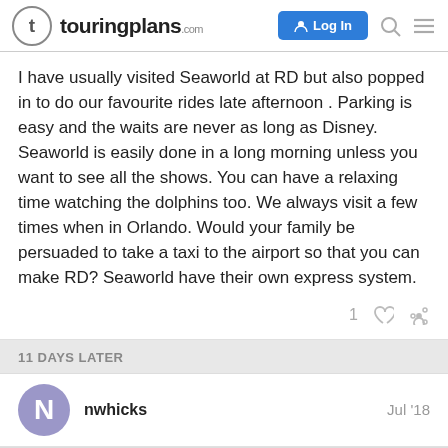touringplans.com — Log In
I have usually visited Seaworld at RD but also popped in to do our favourite rides late afternoon . Parking is easy and the waits are never as long as Disney. Seaworld is easily done in a long morning unless you want to see all the shows. You can have a relaxing time watching the dolphins too. We always visit a few times when in Orlando. Would your family be persuaded to take a taxi to the airport so that you can make RD? Seaworld have their own express system.
11 DAYS LATER
nwhicks   Jul '18
I don't know what RD means (I'm new) but we did SeaWorld in a day so I think you totally can. Other than the big coasters, the